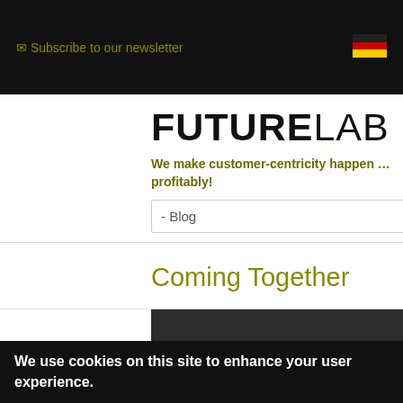✉ Subscribe to our newsletter
FUTURELAB
We make customer-centricity happen … profitably!
- Blog
Coming Together
[Figure (logo): FUTURELAB logo on dark background]
We use cookies on this site to enhance your user experience.